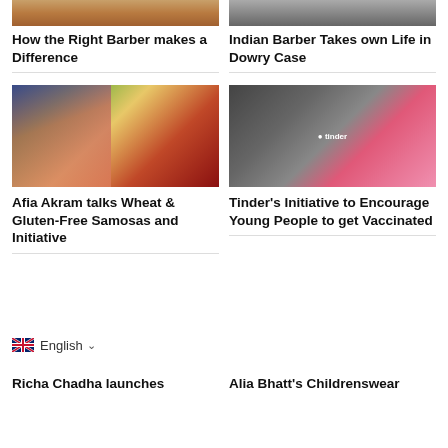[Figure (photo): Partial photo of a barber scene, warm tones]
How the Right Barber makes a Difference
[Figure (photo): Partial photo, black and white, newspaper-like]
Indian Barber Takes own Life in Dowry Case
[Figure (photo): Photo of Afia Akram smiling in red apron beside samosas on a plate, green background]
Afia Akram talks Wheat & Gluten-Free Samosas and Initiative
[Figure (photo): Hand holding a smartphone showing the Tinder app with pink screen and logo]
Tinder's Initiative to Encourage Young People to get Vaccinated
English
Richa Chadha launches
Alia Bhatt's Childrenswear